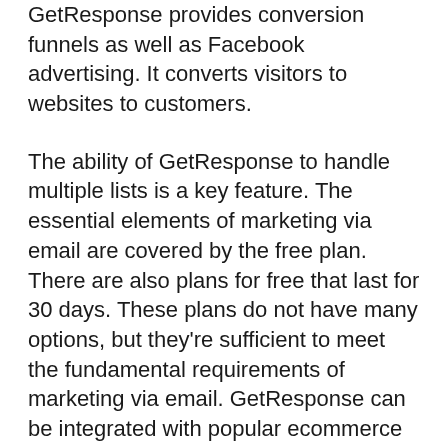GetResponse provides conversion funnels as well as Facebook advertising. It converts visitors to websites to customers.
The ability of GetResponse to handle multiple lists is a key feature. The essential elements of marketing via email are covered by the free plan. There are also plans for free that last for 30 days. These plans do not have many options, but they're sufficient to meet the fundamental requirements of marketing via email. GetResponse can be integrated with popular ecommerce platforms such as Shopify and WordPress. It can also integrate with other CRM systems, like GetResult and Highrise.
The ability of GetResponse to study the